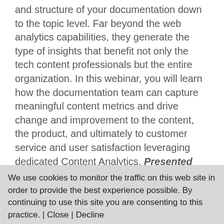and structure of your documentation down to the topic level. Far beyond the web analytics capabilities, they generate the type of insights that benefit not only the tech content professionals but the entire organization. In this webinar, you will learn how the documentation team can capture meaningful content metrics and drive change and improvement to the content, the product, and ultimately to customer service and user satisfaction leveraging dedicated Content Analytics. Presented by: Fabrice Lacroix is a serial entrepreneur and a technology pioneer. He has been working for 25 years on the development of innovative solutions around search technology, content
We use cookies to monitor the traffic on this web site in order to provide the best experience possible. By continuing to use this site you are consenting to this practice. | Close | Decline